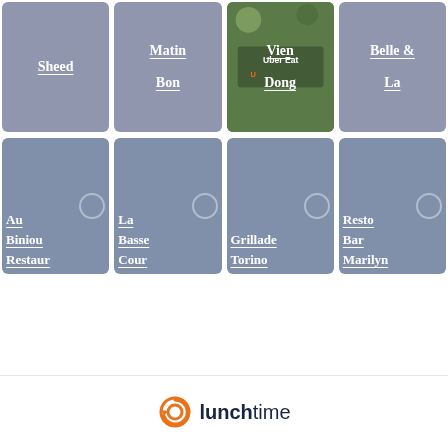[Figure (screenshot): Grid of restaurant cards from Lunchtime app. Row 1: Sheed (truncated), Matin Bon, Vien Dong (with Uber Eats photo), Belle & La. Row 2: Au Biniou Restaurant, La Basse Cour, Grillade Torino, Resto Bar Marilyn.]
[Figure (logo): Lunchtime logo: orange circular arrow icon with text 'lunchtime' in dark navy/orange colors]